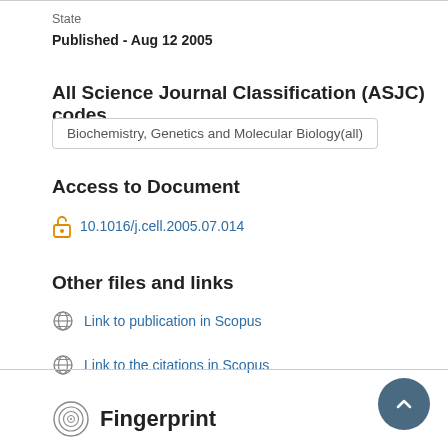State
Published - Aug 12 2005
All Science Journal Classification (ASJC) codes
Biochemistry, Genetics and Molecular Biology(all)
Access to Document
10.1016/j.cell.2005.07.014
Other files and links
Link to publication in Scopus
Link to the citations in Scopus
Fingerprint